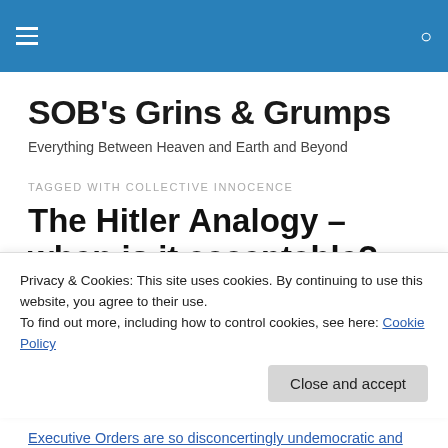SOB's Grins & Grumps [navigation header with hamburger menu and search icon]
SOB’s Grins & Grumps
Everything Between Heaven and Earth and Beyond
TAGGED WITH COLLECTIVE INNOCENCE
The Hitler Analogy – when is it acceptable?
Privacy & Cookies: This site uses cookies. By continuing to use this website, you agree to their use.
To find out more, including how to control cookies, see here: Cookie Policy
Close and accept
Executive Orders are so disconcertingly undemocratic and